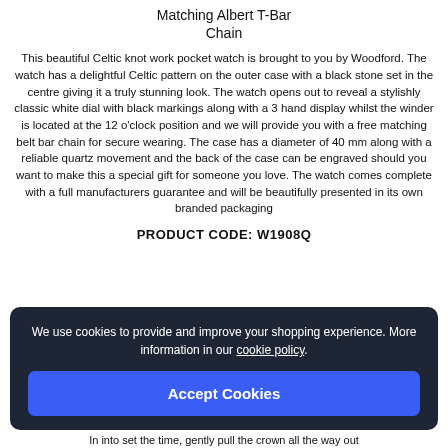Matching Albert T-Bar Chain
This beautiful Celtic knot work pocket watch is brought to you by Woodford. The watch has a delightful Celtic pattern on the outer case with a black stone set in the centre giving it a truly stunning look. The watch opens out to reveal a stylishly classic white dial with black markings along with a 3 hand display whilst the winder is located at the 12 o'clock position and we will provide you with a free matching belt bar chain for secure wearing. The case has a diameter of 40 mm along with a reliable quartz movement and the back of the case can be engraved should you want to make this a special gift for someone you love. The watch comes complete with a full manufacturers guarantee and will be beautifully presented in its own branded packaging
PRODUCT CODE: W1908Q
We use cookies to provide and improve your shopping experience. More information in our cookie policy.
Accept Cookies
In into set the time, gently pull the crown all the way out